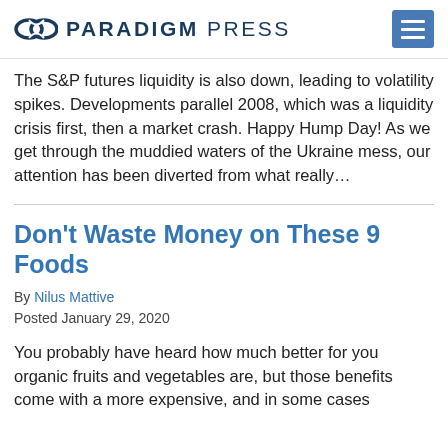PARADIGM PRESS
The S&P futures liquidity is also down, leading to volatility spikes. Developments parallel 2008, which was a liquidity crisis first, then a market crash. Happy Hump Day! As we get through the muddied waters of the Ukraine mess, our attention has been diverted from what really…
Don't Waste Money on These 9 Foods
By Nilus Mattive
Posted January 29, 2020
You probably have heard how much better for you organic fruits and vegetables are, but those benefits come with a more expensive, and in some cases